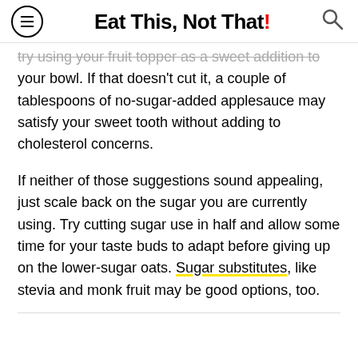Eat This, Not That!
try using your fruit topper as a sweet addition to your bowl. If that doesn't cut it, a couple of tablespoons of no-sugar-added applesauce may satisfy your sweet tooth without adding to cholesterol concerns.
If neither of those suggestions sound appealing, just scale back on the sugar you are currently using. Try cutting sugar use in half and allow some time for your taste buds to adapt before giving up on the lower-sugar oats. Sugar substitutes, like stevia and monk fruit may be good options, too.